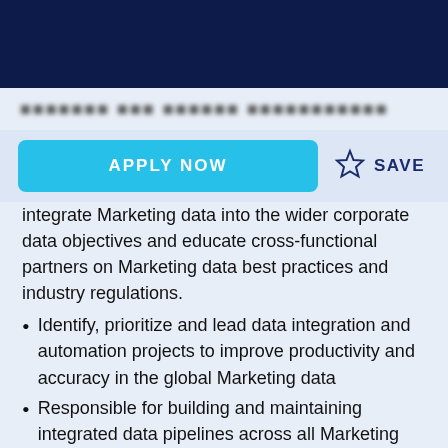[dark header bar]
integrate Marketing data into the wider corporate data objectives and educate cross-functional partners on Marketing data best practices and industry regulations.
Identify, prioritize and lead data integration and automation projects to improve productivity and accuracy in the global Marketing data
Responsible for building and maintaining integrated data pipelines across all Marketing data sources for an unified data view
Derive customer and marketing insights to support Marketing's predictive & prescriptive